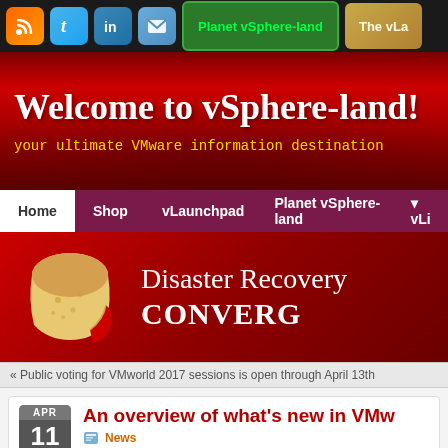Planet vSphere-land | The vLa...
Welcome to vSphere-land!
your ultimate VMware information destination
Home | Shop | vLaunchpad | Planet vSphere-land | vLi...
[Figure (illustration): Red banner advertisement showing a bread slice with a bite taken out and text: Disaster Recovery CONVERG...]
« Public voting for VMworld 2017 sessions is open through April 13th
An overview of what's new in VMw... [APR 11 2017]
News